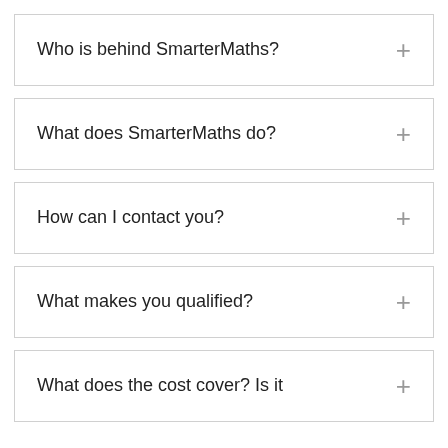Who is behind SmarterMaths?
What does SmarterMaths do?
How can I contact you?
What makes you qualified?
What does the cost cover? Is it